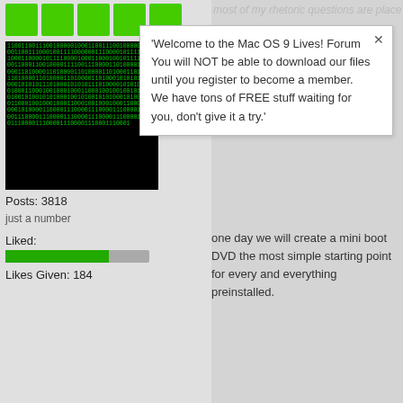[Figure (screenshot): Green rank bar icons - 5 green squares]
[Figure (photo): Matrix-style binary code avatar image with green text on black background]
Posts: 3818
just a number
Liked:
[Figure (infographic): Liked bar - green filled portion with gray remainder]
Likes Given: 184
'Welcome to the Mac OS 9 Lives! Forum You will NOT be able to download our files until you register to become a member. We have tons of FREE stuff waiting for you, don't give it a try.'
most of my rhetoric questions are placed
one day we will create a mini boot DVD the most simple starting point for every and everything preinstalled.
FBz likes this
insert arbitrary signature here
FBz
Platinum Member (500+ Posts)
[Figure (photo): User avatar - black and white photo of a person's face]
Hunting Mac Mini SSD Adapter
« Reply #22 on: April 08, 2022, 12:02:08 PM »
BOLO
Be On the LookOut for…
the AS331 V1.5 / SATA2IDE44VAO SS